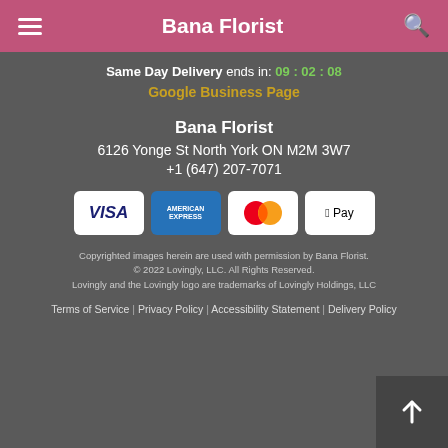Bana Florist
Same Day Delivery ends in: 09 : 02 : 08
Google Business Page
Bana Florist
6126 Yonge St North York ON M2M 3W7
+1 (647) 207-7071
[Figure (other): Payment method icons: VISA, American Express, Mastercard, Apple Pay]
Copyrighted images herein are used with permission by Bana Florist. © 2022 Lovingly, LLC. All Rights Reserved. Lovingly and the Lovingly logo are trademarks of Lovingly Holdings, LLC
Terms of Service | Privacy Policy | Accessibility Statement | Delivery Policy